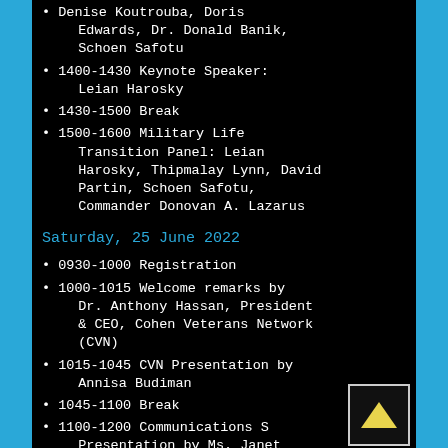Denise Koutrouba, Doris Edwards, Dr. Donald Banik, Schoen Safotu
1400-1430 Keynote Speaker: Leian Harosky
1430-1500 Break
1500-1600 Military Life Transition Panel: Leian Harosky, Thipmalay Lynn, David Partin, Schoen Safotu, Commander Donovan A. Lazarus
Saturday, 25 June 2022
0930-1000 Registration
1000-1015 Welcome remarks by Dr. Anthony Hassan, President & CEO, Cohen Veterans Network (CVN)
1015-1045 CVN Presentation by Annisa Budiman
1045-1100 Break
1100-1200 Communications S... Presentation by Ms. Janet Covington, Director, Steven A.